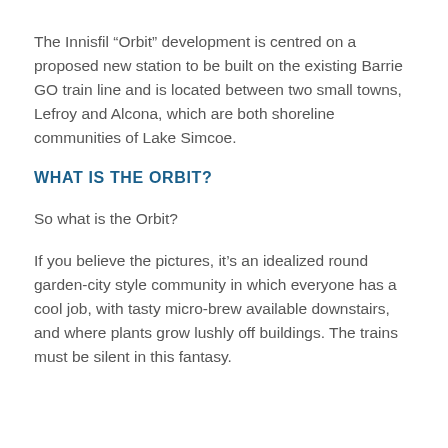The Innisfil “Orbit” development is centred on a proposed new station to be built on the existing Barrie GO train line and is located between two small towns, Lefroy and Alcona, which are both shoreline communities of Lake Simcoe.
WHAT IS THE ORBIT?
So what is the Orbit?
If you believe the pictures, it’s an idealized round garden-city style community in which everyone has a cool job, with tasty micro-brew available downstairs, and where plants grow lushly off buildings. The trains must be silent in this fantasy.